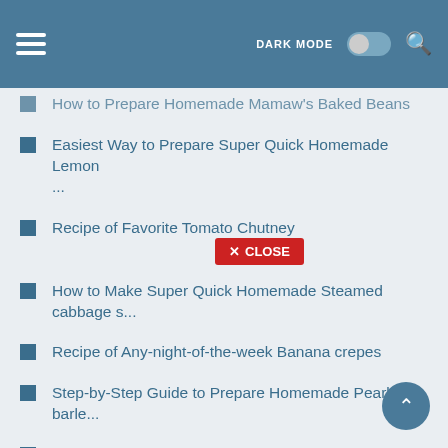DARK MODE [toggle] [search]
How to Prepare Homemade Mamaw's Baked Beans
Easiest Way to Prepare Super Quick Homemade Lemon ...
Recipe of Favorite Tomato Chutney
How to Make Super Quick Homemade Steamed cabbage s...
Recipe of Any-night-of-the-week Banana crepes
Step-by-Step Guide to Prepare Homemade Pearl barle...
How to Make Award-winning Pullao
Recipe of Award-winning Avocado Veggie Toast/ Sand...
Recipe of Favorite Madeira Cake
Step-by-Step Guide to Make Homemade Batch 89 Peppe...